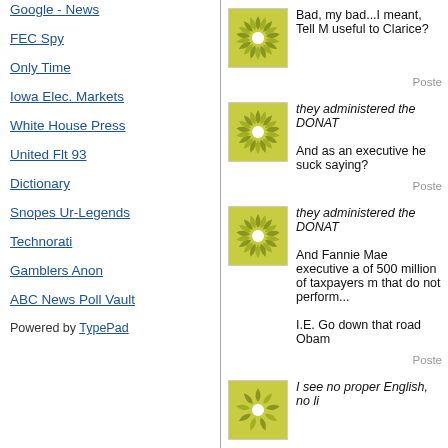Google - News
FEC Spy
Only Time
Iowa Elec. Markets
White House Press
United Flt 93
Dictionary
Snopes Ur-Legends
Technorati
Gamblers Anon
ABC News Poll Vault
Powered by TypePad
Bad, my bad...I meant, Tell M useful to Clarice?
Posted
they administered the DONAT

And as an executive he suck saying?
Posted
they administered the DONAT

And Fannie Mae executive a of 500 million of taxpayers m that do not perform...

I.E. Go down that road Obam
Posted
I see no proper English, no li